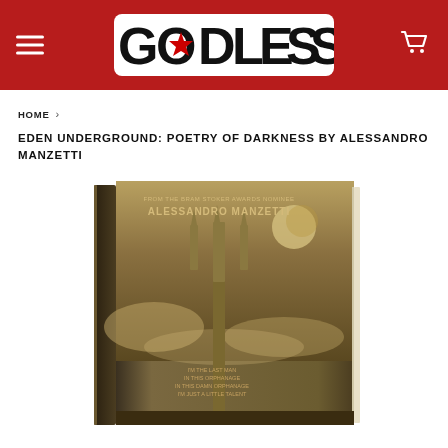[Figure (logo): Godless website header with red background, hamburger menu icon on the left, GODLESS logo in the center (white bold text with red star), and shopping cart icon on the right]
HOME ›
EDEN UNDERGROUND: POETRY OF DARKNESS BY ALESSANDRO MANZETTI
[Figure (photo): Book cover of Eden Underground: Poetry of Darkness by Alessandro Manzetti. Dark, sepia-toned cover showing a large trident/pitchfork against a stormy sky with a moon. Text on cover reads: FROM THE BRAM STOKER AWARDS NOMINEE / ALESSANDRO MANZETTI. Small text at bottom of cover: I'M THE LAST MAN / IN THIS ORPHANAGE / IN THIS DAMN ORPHANAGE / I'M JUST A LITTLE TALENT. The book is shown at a slight 3D angle.]